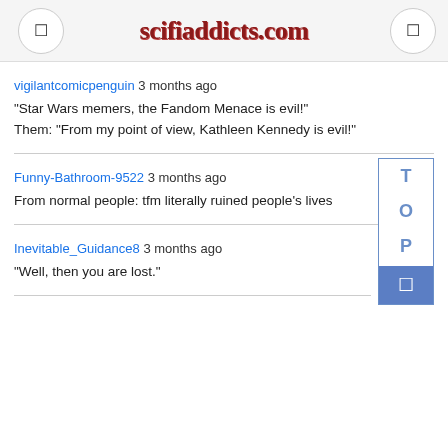scifiaddicts.com
vigilantcomicpenguin 3 months ago
"Star Wars memers, the Fandom Menace is evil!"
Them: "From my point of view, Kathleen Kennedy is evil!"
Funny-Bathroom-9522 3 months ago
From normal people: tfm literally ruined people's lives
Inevitable_Guidance8 3 months ago
"Well, then you are lost."